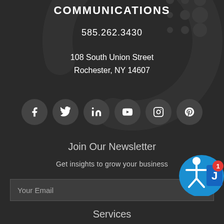COMMUNICATIONS
585.262.3430
108 South Union Street
Rochester, NY 14607
[Figure (illustration): Social media icon row: Facebook, Twitter, LinkedIn, YouTube, Instagram, Pinterest — each in a dark circular button]
Join Our Newsletter
Get insights to grow your business
Your Email (input field placeholder)
[Figure (logo): Accessibility and Juicer social media badge overlay in lower right corner with red notification badge showing '1']
Services